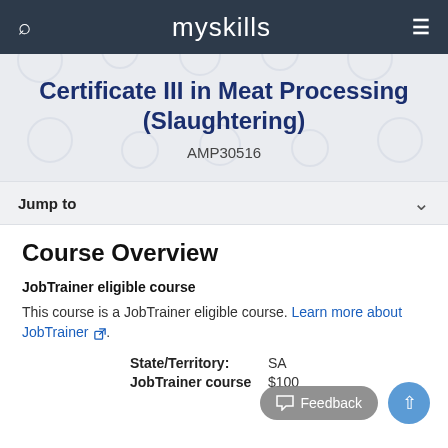myskills
Certificate III in Meat Processing (Slaughtering)
AMP30516
Jump to
Course Overview
JobTrainer eligible course
This course is a JobTrainer eligible course. Learn more about JobTrainer.
State/Territory: SA
JobTrainer course: $100